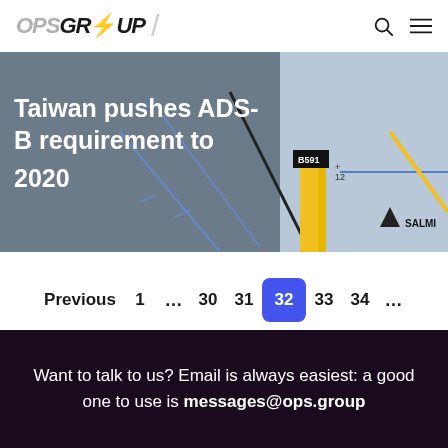OPS GROUP
[Figure (screenshot): Article banner image showing aviation navigation chart with yellow and blue lines, waypoint markers including B591 and SALMI, with title overlay 'Taiwan pushes ADS-B requirement to 2020' in white text on semi-transparent dark background]
Previous  1  ...  30  31  32  33  34  ...  39  Next
Want to talk to us? Email is always easiest: a good one to use is messages@ops.group